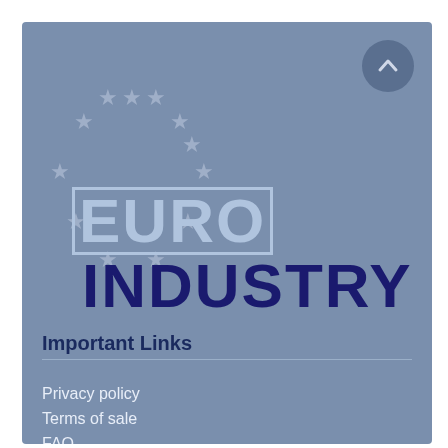[Figure (logo): Euro Industry logo with EU stars circle and stylized EURO INDUSTRY text on blue-grey background]
Important Links
Privacy policy
Terms of sale
FAQ
Contact
Sitemap